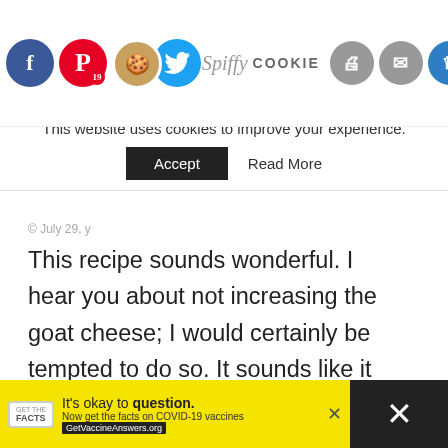[Figure (screenshot): Social sharing icon row: Facebook (blue), Pinterest (red, badge 19), Twitter (blue bird), Yummly (orange), Print (grey), Mail (grey), Crown (blue). Cookie emoji logo with Spiffy Cookie text.]
This website uses cookies to improve your experience.
Accept   Read More
This recipe sounds wonderful. I hear you about not increasing the goat cheese; I would certainly be tempted to do so. It sounds like it would be perfect with the balsamic chicken, another dish I would enjoy. Hopefully I will get to make this soon.
KELSEY @ K&K TEST KITCHEN
July 29, 2013 - 5:54 pm
WHAT'S NEXT → Bean and Cheese...
[Figure (screenshot): Yellow ad banner: It's okay to question. Now get the facts on COVID-19 vaccines. GetVaccineAnswers.org]
It's okay to question. Now get the facts on COVID-19 vaccines  GetVaccineAnswers.org